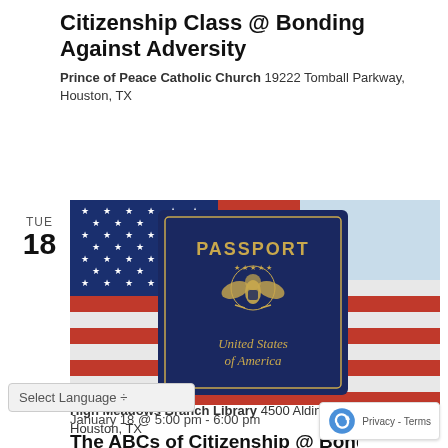Citizenship Class @ Bonding Against Adversity
Prince of Peace Catholic Church 19222 Tomball Parkway, Houston, TX
[Figure (photo): US Passport book on top of an American flag background]
January 18 @ 5:00 pm - 6:00 pm
The ABCs of Citizenship @ Bonding Against Ac...
High Meadows Branch Library 4500 Aldine Mail Rte Ro... Houston, TX